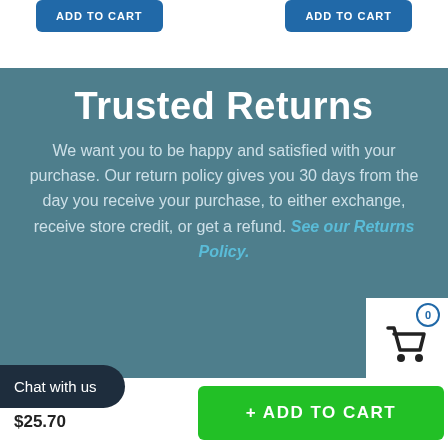[Figure (screenshot): Two blue ADD TO CART buttons at the top of the page]
Trusted Returns
We want you to be happy and satisfied with your purchase. Our return policy gives you 30 days from the day you receive your purchase, to either exchange, receive store credit, or get a refund. See our Returns Policy.
[Figure (screenshot): Shopping cart icon with badge showing 0]
Chat with us
...rush
$25.70
[Figure (screenshot): Green + ADD TO CART button at the bottom]